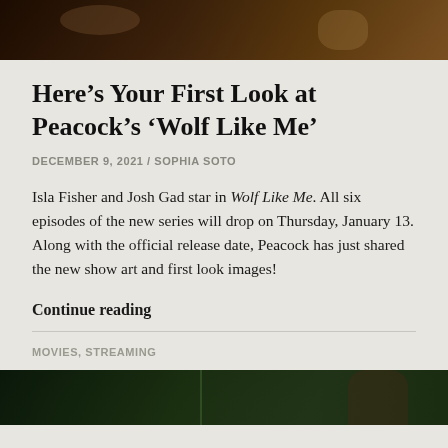[Figure (photo): Top portion of a photo showing people at a table with drinks, dark/warm tones]
Here’s Your First Look at Peacock’s ‘Wolf Like Me’
DECEMBER 9, 2021 / SOPHIA SOTO
Isla Fisher and Josh Gad star in Wolf Like Me. All six episodes of the new series will drop on Thursday, January 13. Along with the official release date, Peacock has just shared the new show art and first look images!
Continue reading
MOVIES, STREAMING
[Figure (photo): Bottom portion of another photo showing a dark green outdoor/forest scene]